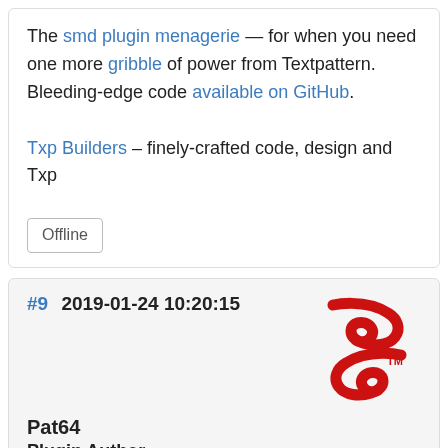The smd plugin menagerie — for when you need one more gribble of power from Textpattern. Bleeding-edge code available on GitHub.
Txp Builders – finely-crafted code, design and Txp
Offline
#9 2019-01-24 10:20:15
[Figure (logo): Red CaRa logo with TM mark]
Pat64
Plugin Author
From: France
Registered: 2005-12-12
Posts: 1,527
[Figure (other): GitHub and Twitter icon buttons]